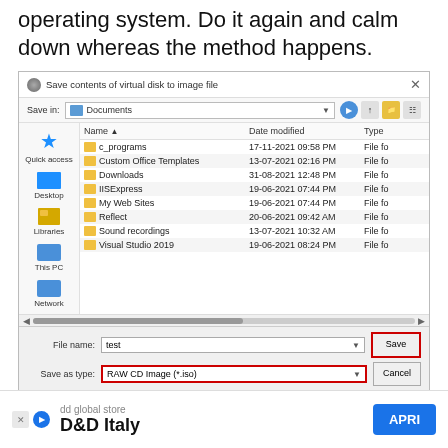operating system. Do it again and calm down whereas the method happens.
[Figure (screenshot): Windows Save File dialog showing 'Save contents of virtual disk to image file' with Documents folder open, showing c_programs, Custom Office Templates, Downloads, IISExpress, My Web Sites, Reflect, Sound recordings, Visual Studio 2019 folders. File name: test, Save as type: RAW CD Image (*.iso) highlighted in red. Save button highlighted in red.]
12  A message indicating profitable conversion
dd global store D&D Italy APRI